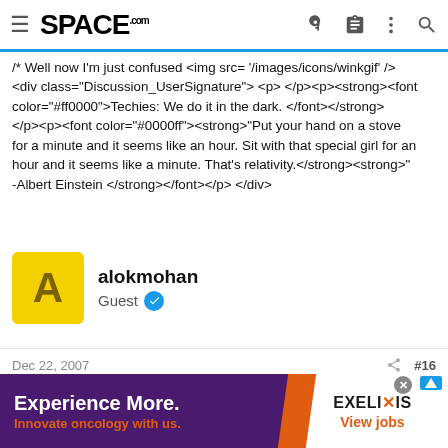SPACE.com
/* Well now I'm just confused <img src= '/images/icons/winkgif' /> <div class="Discussion_UserSignature"> <p> </p><p><strong><font color="#ff0000">Techies: We do it in the dark. </font></strong> </p><p><font color="#0000ff"><strong>"Put your hand on a stove for a minute and it seems like an hour. Sit with that special girl for an hour and it seems like a minute. That's relativity.</strong><strong>"-Albert Einstein </strong></font></p> </div>
alokmohan
Guest
Dec 22, 2007    #16
[Figure (other): Advertisement banner for Exelixis: 'Experience More. Innovate oncology with us.' with Exelixis logo and 'View jobs' link]